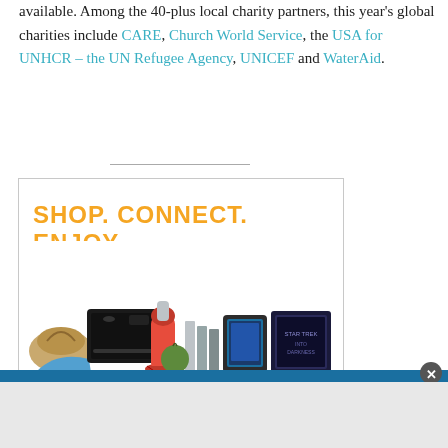available. Among the 40-plus local charity partners, this year's global charities include CARE, Church World Service, the USA for UNHCR – the UN Refugee Agency, UNICEF and WaterAid.
[Figure (advertisement): Advertisement banner reading 'SHOP. CONNECT. ENJOY.' in orange text with images of various products including a gaming console, kitchen mixer, books, tablets, movie cases, handbag, shoes, and other items on a white background.]